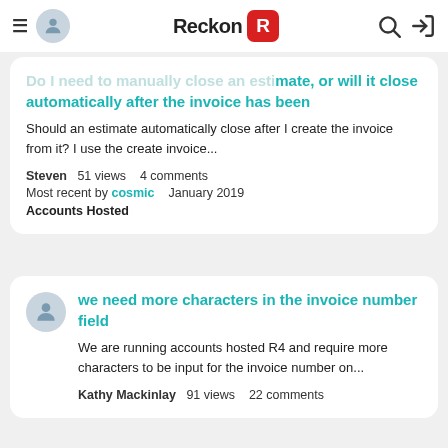Reckon (logo/navigation bar)
Do I need to manually close an estimate, or will it close automatically after the invoice has been
Should an estimate automatically close after I create the invoice from it? I use the create invoice...
Steven   51 views   4 comments
Most recent by cosmic   January 2019
Accounts Hosted
we need more characters in the invoice number field
We are running accounts hosted R4 and require more characters to be input for the invoice number on...
Kathy Mackinlay   91 views   22 comments